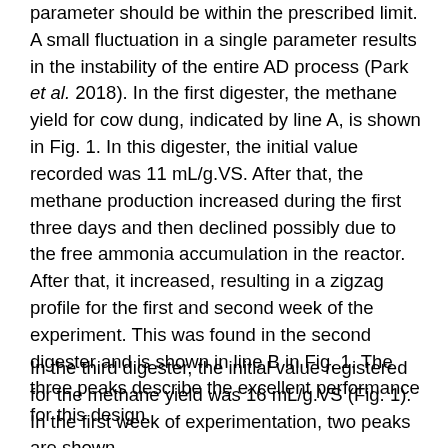parameter should be within the prescribed limit. A small fluctuation in a single parameter results in the instability of the entire AD process (Park et al. 2018). In the first digester, the methane yield for cow dung, indicated by line A, is shown in Fig. 1. In this digester, the initial value recorded was 11 mL/g.VS. After that, the methane production increased during the first three days and then declined possibly due to the free ammonia accumulation in the reactor. After that, it increased, resulting in a zigzag profile for the first and second week of the experiment. This was found in the second digester and is shown in line B in Fig. 1. The three peaks describe the excellent performance for this design.
In the third digester, the initial value registered for the methane yield was 16 mL/g.VS (Fig. 1). In the first week of experimentation, two peaks are shown